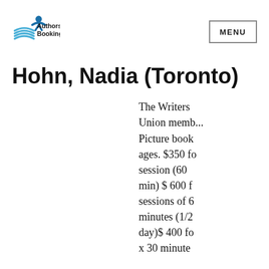[Figure (logo): Authors' Booking Service logo with stylized book/figure icon in blue and a MENU button on the right]
Hohn, Nadia (Toronto)
The Writers Union memb... Picture book ages. $350 fo session (60 min) $ 600 f sessions of 6 minutes (1/2 day)$ 400 fo x 30 minute